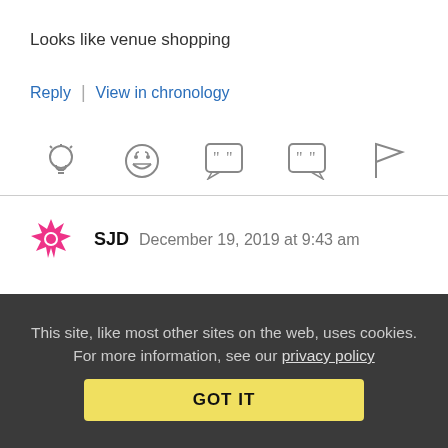Looks like venue shopping
Reply | View in chronology
[Figure (other): Row of action icons: lightbulb, laughing emoji, quote bubble (left), quote bubble (right), flag]
SJD  December 19, 2019 at 9:43 am
LA lawyer Lincoln Bandlow, who manages Strike 3 cases nationwide, said this 1.5 years ago (emphasis is mine):
This site, like most other sites on the web, uses cookies. For more information, see our privacy policy  GOT IT